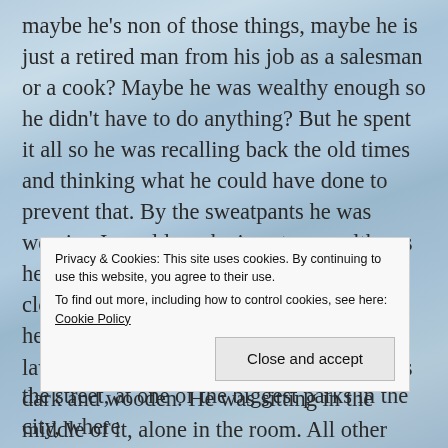maybe he's non of those things, maybe he is just a retired man from his job as a salesman or a cook? Maybe he was wealthy enough so he didn't have to do anything? But he spent it all so he was recalling back the old times and thinking what he could have done to prevent that. By the sweatpants he was wearing I would say he is not as wealthy as he was, or he just pulled them out of the closet. They were quite worn out. I'd say he's 63 years old, retired not long ago as a lawyer or a doctor, you name it. The cafe is dark and wooden. He was sitting in the middle of it, alone in the room. All other guests were sitting outside. Behind him is a gallery with two
Privacy & Cookies: This site uses cookies. By continuing to use this website, you agree to their use.
To find out more, including how to control cookies, see here: Cookie Policy
Close and accept
the street, at one of the biggest parks in the city, where